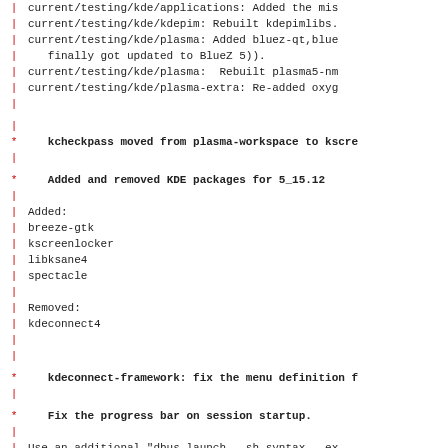current/testing/kde/applications: Added the mis
current/testing/kde/kdepim: Rebuilt kdepimlibs.
current/testing/kde/plasma: Added bluez-qt,blue
finally got updated to BlueZ 5)).
current/testing/kde/plasma:  Rebuilt plasma5-nm
current/testing/kde/plasma-extra: Re-added oxyg
kcheckpass moved from plasma-workspace to kscre
Added and removed KDE packages for 5_15.12
Added:
breeze-gtk
kscreenlocker
libksane4
spectacle
Removed:
kdeconnect4
kdeconnect-framework: fix the menu definition f
Fix the progress bar on session startup.
Use an additional "dbus-launch --sh-syntax --ex
the startkde script.